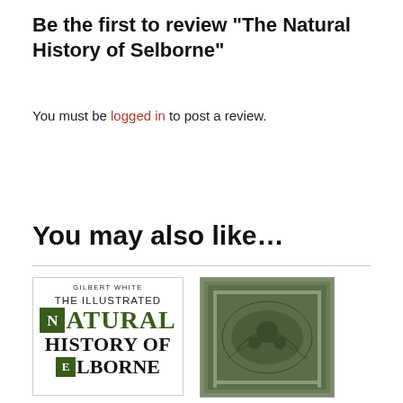Be the first to review “The Natural History of Selborne”
You must be logged in to post a review.
You may also like…
[Figure (illustration): Book cover of 'The Illustrated Natural History of Selborne' by Gilbert White, showing the title with green decorative drop caps and a small illustrated initial E.]
[Figure (illustration): Partial view of a second book cover with a dark greenish illustrated image, likely an engraving.]